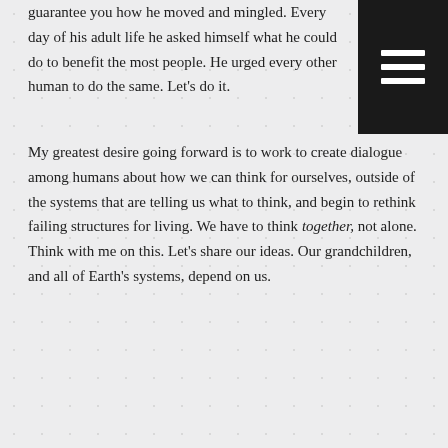guarantee you how he moved and mingled. Every day of his adult life he asked himself what he could do to benefit the most people. He urged every other human to do the same. Let's do it.
[Figure (other): Black square menu button with three horizontal white lines (hamburger icon)]
My greatest desire going forward is to work to create dialogue among humans about how we can think for ourselves, outside of the systems that are telling us what to think, and begin to rethink failing structures for living. We have to think together, not alone. Think with me on this. Let's share our ideas. Our grandchildren, and all of Earth's systems, depend on us.
Tags in this post: Buckminster Fuller   climate change   dialogue   Obama's proposal on climate change